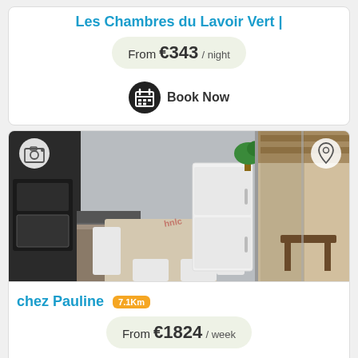Les Chambres du Lavoir Vert
From €343 / night
Book Now
[Figure (photo): Interior photo of a kitchen/dining area with white table, white chairs, refrigerator, oven, and glass sliding door leading to an outdoor terrace with wooden beam ceiling. Camera icon overlay top-left, map pin icon overlay top-right.]
chez Pauline 7.1Km
From €1824 / week
Book Now